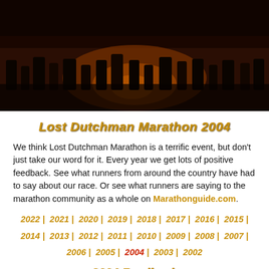[Figure (photo): Hero banner photograph of marathon runners at night with crowd and lights, dark reddish-brown toned]
Lost Dutchman Marathon 2004
We think Lost Dutchman Marathon is a terrific event, but don't just take our word for it. Every year we get lots of positive feedback. See what runners from around the country have had to say about our race. Or see what runners are saying to the marathon community as a whole on Marathonguide.com.
2022 | 2021 | 2020 | 2019 | 2018 | 2017 | 2016 | 2015 | 2014 | 2013 | 2012 | 2011 | 2010 | 2009 | 2008 | 2007 | 2006 | 2005 | 2004 | 2003 | 2002
2004 Feedback
I would like to make some comments about the Third Annual LDM